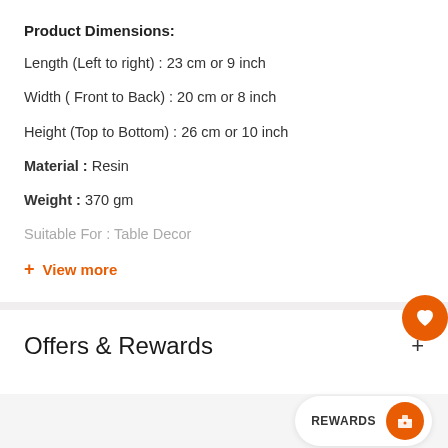Product Dimensions:
Length (Left to right) : 23 cm or 9 inch
Width ( Front to Back) : 20 cm or 8 inch
Height (Top to Bottom) : 26 cm or 10 inch
Material : Resin
Weight : 370 gm
Suitable For : Table Decor
+ View more
Offers & Rewards